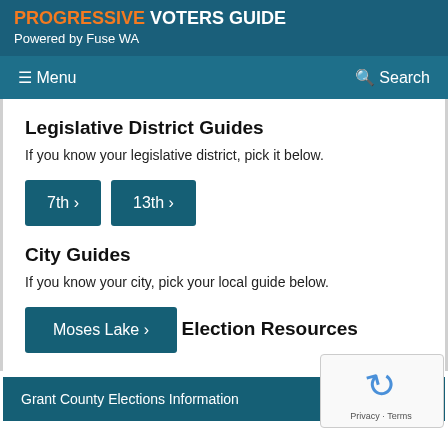PROGRESSIVE VOTERS GUIDE Powered by Fuse WA
Menu  Search
Legislative District Guides
If you know your legislative district, pick it below.
7th >
13th >
City Guides
If you know your city, pick your local guide below.
Moses Lake >
Election Resources
Grant County Elections Information